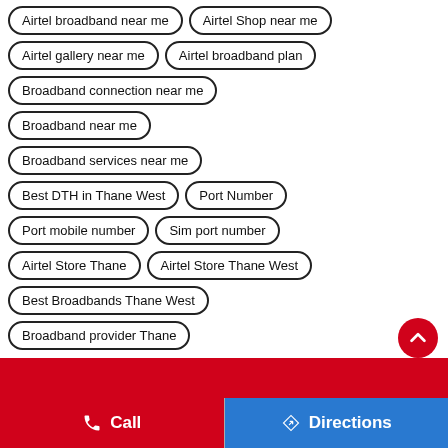Airtel broadband near me
Airtel Shop near me
Airtel gallery near me
Airtel broadband plan
Broadband connection near me
Broadband near me
Broadband services near me
Best DTH in Thane West
Port Number
Port mobile number
Sim port number
Airtel Store Thane
Airtel Store Thane West
Best Broadbands Thane West
Broadband provider Thane
Call | Directions